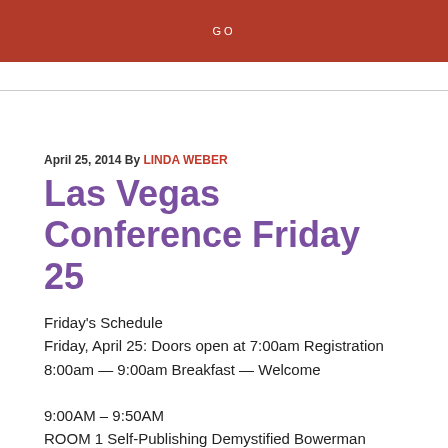GO
April 25, 2014 By LINDA WEBER
Las Vegas Conference Friday 25
Friday's Schedule
Friday, April 25: Doors open at 7:00am Registration
8:00am — 9:00am Breakfast — Welcome

9:00AM – 9:50AM
ROOM 1 Self-Publishing Demystified Bowerman
ROOM 2 Workshopping the query Goldsmith
ROOM 3 Self-editing for fiction writers Watters
ROOM 4 Whose Story is This? – Writing on POV Platt